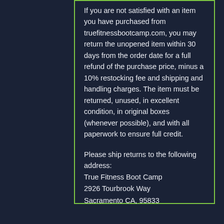If you are not satisfied with an item you have purchased from truefitnessbootcamp.com, you may return the unopened item within 30 days from the order date for a full refund of the purchase price, minus a 10% restocking fee and shipping and handling charges. The item must be returned, unused, in excellent condition, in original boxes (whenever possible), and with all paperwork to ensure full credit.
Please ship returns to the following address:
True Fitness Boot Camp
2926 Tourbrook Way
Sacramento CA, 95833